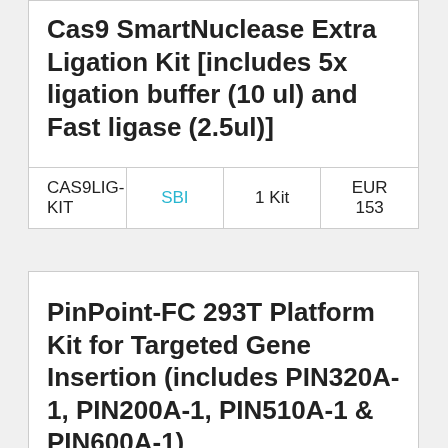| Product Name | Brand | Quantity | Price |
| --- | --- | --- | --- |
| Cas9 SmartNuclease Extra Ligation Kit [includes 5x ligation buffer (10 ul) and Fast ligase (2.5ul)] | SBI | 1 Kit | EUR 153 |
| Product Name | Brand | Quantity | Price |
| --- | --- | --- | --- |
| PinPoint-FC 293T Platform Kit for Targeted Gene Insertion (includes PIN320A-1, PIN200A-1, PIN510A-1 & PIN600A-1) | SBI | 1 Kit | EUR 494 |